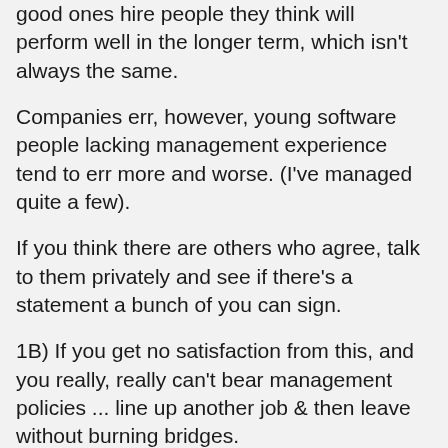good ones hire people they think will perform well in the longer term, which isn't always the same.
Companies err, however, young software people lacking management experience tend to err more and worse. (I've managed quite a few).
If you think there are others who agree, talk to them privately and see if there's a statement a bunch of you can sign.
1B) If you get no satisfaction from this, and you really, really can't bear management policies ... line up another job & then leave without burning bridges.
2) Not-so-good ways
2A) Post something that some may agree with, but will cause serious upset among many employees (remember piranhas: if you were a recruiter, who would you be calling). As Mark & others have noted, Damore's science claims are not very good, but easily confuse nonspecialists. Posting something contentious electronically